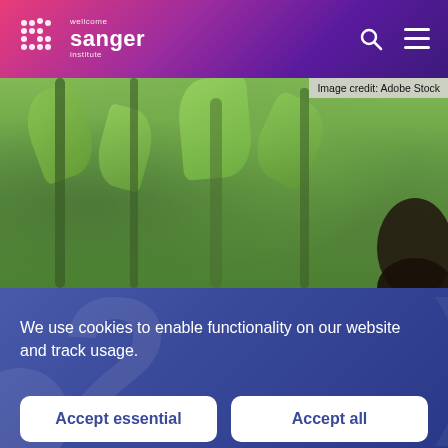[Figure (logo): Wellcome Sanger Institute logo — white dots grid with 'wellcome sanger institute' text in white on gradient purple-pink background header]
[Figure (photo): Nature photograph showing dense green tropical forest foliage with mist; an animal (gorilla or similar) visible in the bottom right corner. Image credit: Adobe Stock.]
Image credit: Adobe Stock
We use cookies to enable functionality on our website and track usage.
Accept essential
Accept all
Cookie settings